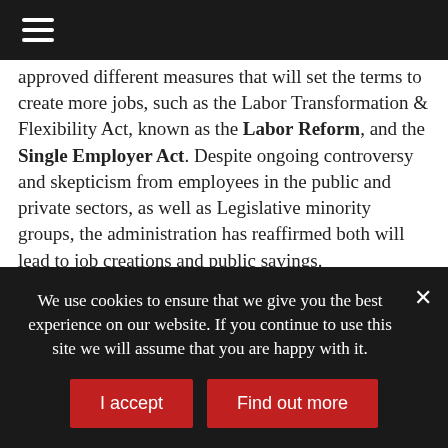Navigation menu header bar
approved different measures that will set the terms to create more jobs, such as the Labor Transformation & Flexibility Act, known as the Labor Reform, and the Single Employer Act. Despite ongoing controversy and skepticism from employees in the public and private sectors, as well as Legislative minority groups, the administration has reaffirmed both will lead to job creations and public savings.
However, NPP officials have placed particular emphasis on the status referendum. Specifically, the option for statehood, which has been met with opposition from the PDP and the
We use cookies to ensure that we give you the best experience on our website. If you continue to use this site we will assume that you are happy with it.